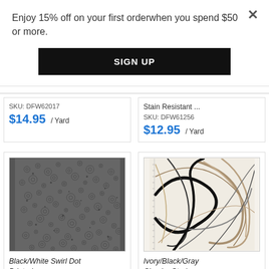Enjoy 15% off on your first orderwhen you spend $50 or more.
×
SIGN UP
SKU: DFW62017
$14.95 / Yard
Stain Resistant ...
SKU: DFW61256
$12.95 / Yard
[Figure (photo): Black and white swirl dot printed fabric texture]
Black/White Swirl Dot Printed ...
[Figure (photo): Ivory/Black/Gray circular stroke printed fabric texture]
Ivory/Black/Gray Circular Stroke ...